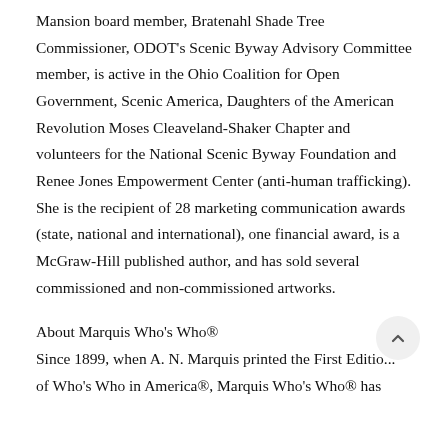Mansion board member, Bratenahl Shade Tree Commissioner, ODOT's Scenic Byway Advisory Committee member, is active in the Ohio Coalition for Open Government, Scenic America, Daughters of the American Revolution Moses Cleaveland-Shaker Chapter and volunteers for the National Scenic Byway Foundation and Renee Jones Empowerment Center (anti-human trafficking). She is the recipient of 28 marketing communication awards (state, national and international), one financial award, is a McGraw-Hill published author, and has sold several commissioned and non-commissioned artworks.
About Marquis Who's Who®
Since 1899, when A. N. Marquis printed the First Edition of Who's Who in America®, Marquis Who's Who® has